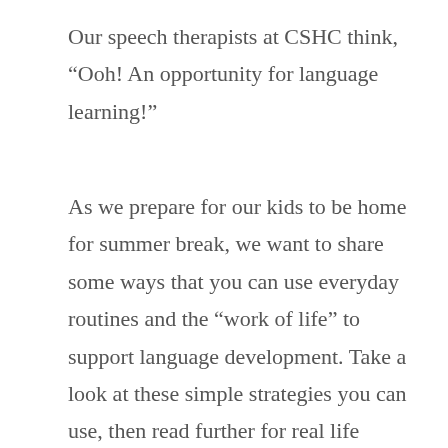Our speech therapists at CSHC think, “Ooh! An opportunity for language learning!”
As we prepare for our kids to be home for summer break, we want to share some ways that you can use everyday routines and the “work of life” to support language development. Take a look at these simple strategies you can use, then read further for real life examples of how to implement them.